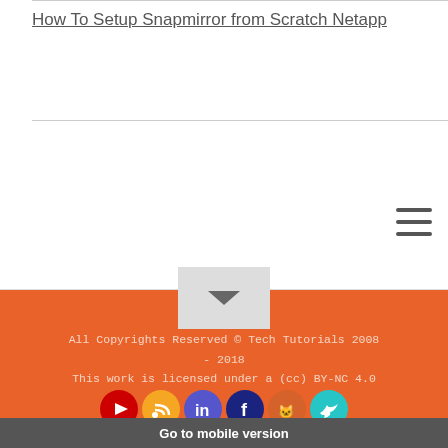How To Setup Snapmirror from Scratch Netapp
[Figure (other): Hamburger menu icon with three horizontal lines]
[Figure (other): Scroll to top button with upward chevron on gray background]
All Copyrights Reserved © Tech Tutorials 2008 - 2018
This work is licensed under a (cc) BY-NC 4.0
[Figure (other): Social media icons row: YouTube (red), RSS (yellow), LinkedIn (blue), Facebook (dark blue), GitHub (orange), Twitter (teal)]
Go to mobile version